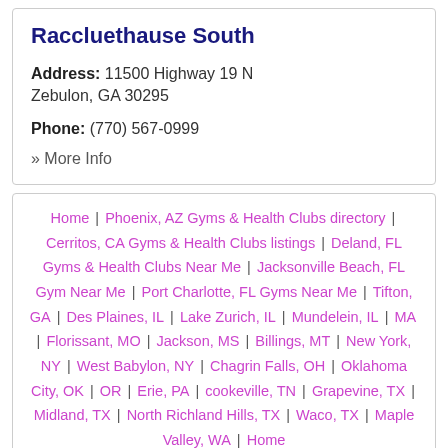Raccluethause South
Address: 11500 Highway 19 N Zebulon, GA 30295
Phone: (770) 567-0999
» More Info
Home | Phoenix, AZ Gyms & Health Clubs directory | Cerritos, CA Gyms & Health Clubs listings | Deland, FL Gyms & Health Clubs Near Me | Jacksonville Beach, FL Gym Near Me | Port Charlotte, FL Gyms Near Me | Tifton, GA | Des Plaines, IL | Lake Zurich, IL | Mundelein, IL | MA | Florissant, MO | Jackson, MS | Billings, MT | New York, NY | West Babylon, NY | Chagrin Falls, OH | Oklahoma City, OK | OR | Erie, PA | cookeville, TN | Grapevine, TX | Midland, TX | North Richland Hills, TX | Waco, TX | Maple Valley, WA | Home